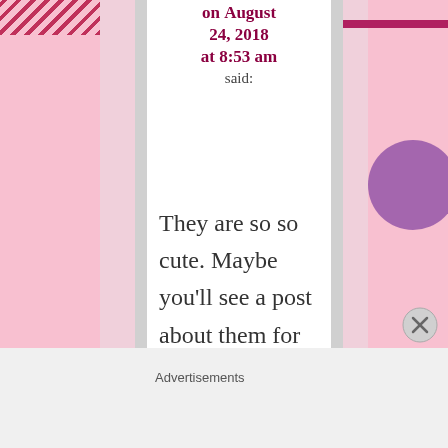on August 24, 2018 at 8:53 am said:
They are so so cute. Maybe you'll see a post about them for Australia Day next year. Some people
Advertisements